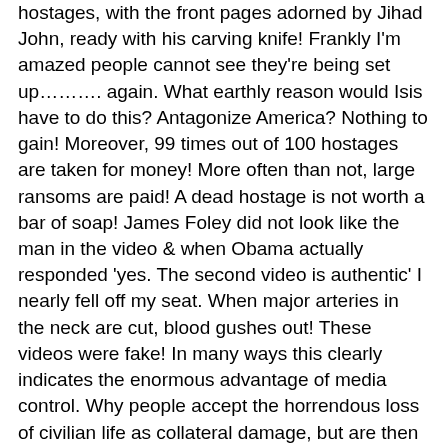hostages, with the front pages adorned by Jihad John, ready with his carving knife! Frankly I'm amazed people cannot see they're being set up………. again. What earthly reason would Isis have to do this? Antagonize America? Nothing to gain! Moreover, 99 times out of 100 hostages are taken for money! More often than not, large ransoms are paid! A dead hostage is not worth a bar of soap! James Foley did not look like the man in the video & when Obama actually responded 'yes. The second video is authentic' I nearly fell off my seat. When major arteries in the neck are cut, blood gushes out! These videos were fake! In many ways this clearly indicates the enormous advantage of media control. Why people accept the horrendous loss of civilian life as collateral damage, but are then appalled by a beheading is beyond me.
9/11 was a major turning point in our history. What's most worrying is the perpetrators not only remain free – they are busy writing the script for the media! They then feed us this garbage almost like a daily soap opera! Normally the problem with creating turmoil is it becomes problematic predicting the